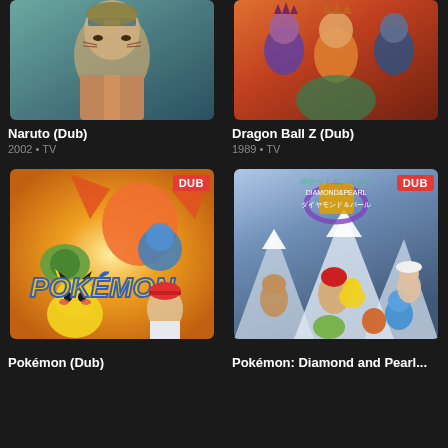[Figure (screenshot): Naruto (Dub) anime thumbnail showing characters in teal/grey tones]
[Figure (screenshot): Dragon Ball Z (Dub) anime thumbnail showing colorful characters]
Naruto (Dub)
2002 • TV
Dragon Ball Z (Dub)
1989 • TV
[Figure (screenshot): Pokémon (Dub) anime thumbnail with DUB badge, showing Pikachu, Charizard, Ash and other Pokemon on orange background]
[Figure (screenshot): Pokémon: Diamond and Pearl... anime thumbnail with DUB badge, showing Ash, Pikachu, Piplup, and other characters on snowy mountain background]
Pokémon (Dub)
Pokémon: Diamond and Pearl...